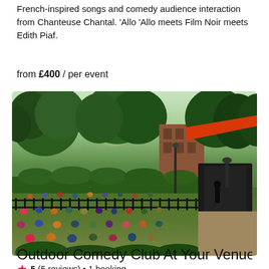French-inspired songs and comedy audience interaction from Chanteuse Chantal. 'Allo 'Allo meets Film Noir meets Edith Piaf.
from £400 / per event
[Figure (photo): Outdoor event in a park with a large audience sitting on grass watching a performer on a stage right, large trees in background, orange awning visible on right side, black metal fence in foreground.]
5 (5 reviews) • 1 booking
Outdoor Comedy Club At Your Venue